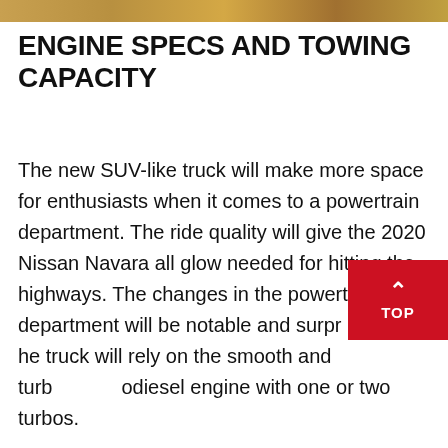[Figure (photo): Top strip showing a partial image of what appears to be a vehicle interior or exterior in warm golden/brown tones]
ENGINE SPECS AND TOWING CAPACITY
The new SUV-like truck will make more space for enthusiasts when it comes to a powertrain department. The ride quality will give the 2020 Nissan Navara all glow needed for hitting the highways. The changes in the powertrain department will be notable and surprising. The truck will rely on the smooth and turbodiesel engine with one or two turbos.
The performance upgrades are still in tune so